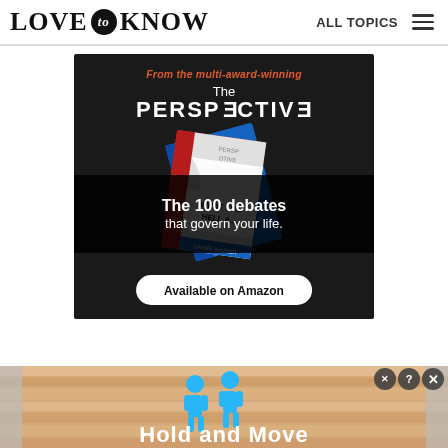LOVE to KNOW | ALL TOPICS
[Figure (photo): Advertisement for 'The Perspective' book by Daniel Ravner — 'From the multi-award-winning The PERSPECTIVE — WHAT THE HELL A... The 100 debates that govern your life. Available on Amazon.' Dark background with book cover image.]
[Figure (photo): Bottom advertisement banner with light wood/striped background, two blue people icons, text 'Hold and Move', with close/help buttons in top right corner.]